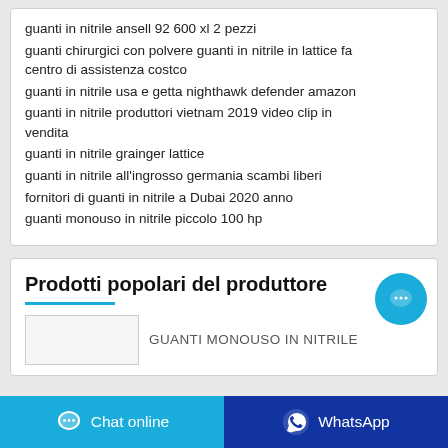guanti in nitrile ansell 92 600 xl 2 pezzi
guanti chirurgici con polvere guanti in nitrile in lattice fa centro di assistenza costco
guanti in nitrile usa e getta nighthawk defender amazon
guanti in nitrile produttori vietnam 2019 video clip in vendita
guanti in nitrile grainger lattice
guanti in nitrile all'ingrosso germania scambi liberi
fornitori di guanti in nitrile a Dubai 2020 anno
guanti monouso in nitrile piccolo 100 hp
Prodotti popolari del produttore
GUANTI MONOUSO IN NITRILE
Chat online
WhatsApp